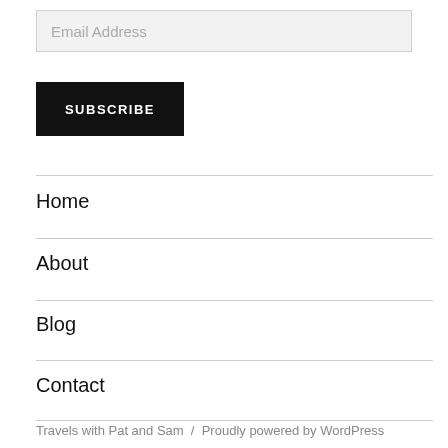Email Address
SUBSCRIBE
Home
About
Blog
Contact
Travels with Pat and Sam  /  Proudly powered by WordPress